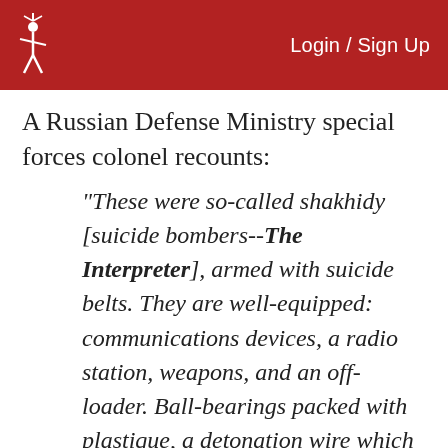Login / Sign Up
A Russian Defense Ministry special forces colonel recounts:
“These were so-called shakhidy [suicide bombers--The Interpreter], armed with suicide belts. They are well-equipped: communications devices, a radio station, weapons, and an off-loader. Ball-bearings packed with plastique, a detonation wire which was placed in a convenient place to carry out a blast. They caused